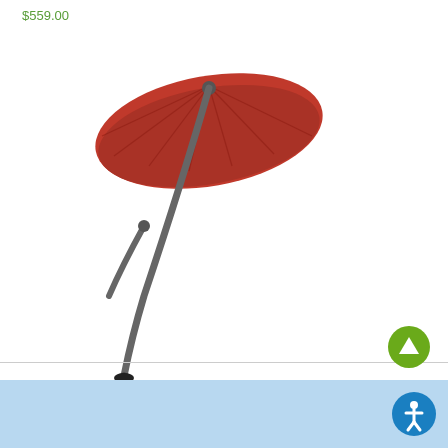$559.00
[Figure (photo): Red cantilever patio umbrella with a curved aluminum pole and cross base, shown against a white background]
9' Aluminum Cantilever Sunbrella A Patio Umbrella
$549.00